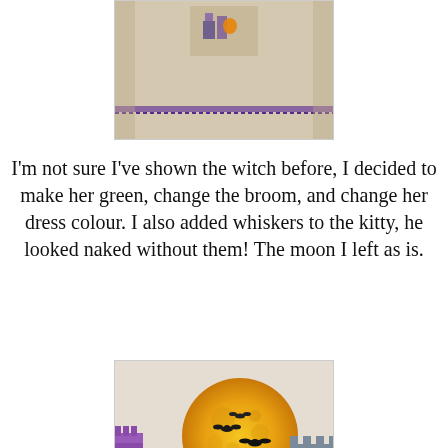[Figure (photo): Close-up photo of a cross-stitch embroidery on linen fabric, showing a Halloween themed design with a haunted house and purple border stitching at the bottom.]
I'm not sure I've shown the witch before, I decided to make her green, change the broom, and change her dress colour. I also added whiskers to the kitty, he looked naked without them! The moon I left as is.
[Figure (photo): Cross-stitch embroidery photo showing a Halloween scene with a large orange full moon with bats flying in front, a decorative black fence, a purple and grey haunted house with checkered pattern, and a purple tower on the left side.]